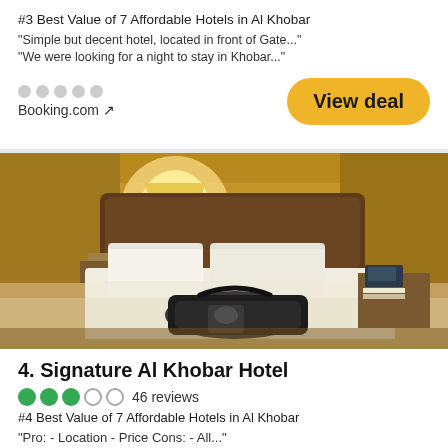#3 Best Value of 7 Affordable Hotels in Al Khobar
"Simple but decent hotel, located in front of Gate..."
"We were looking for a night to stay in Khobar..."
Booking.com ↗
View deal
[Figure (photo): Hotel room with a large bed, warm lighting from a bedside lamp, dark wooden headboard, white pillows and bedding, a black bag on the bed, and a nightstand with a phone.]
4. Signature Al Khobar Hotel
46 reviews
#4 Best Value of 7 Affordable Hotels in Al Khobar
"Pro: - Location - Price Cons: - All..."